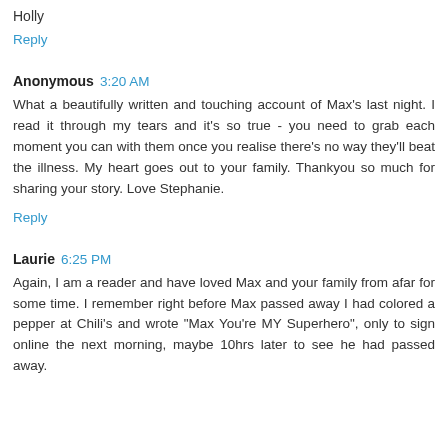Holly
Reply
Anonymous 3:20 AM
What a beautifully written and touching account of Max's last night. I read it through my tears and it's so true - you need to grab each moment you can with them once you realise there's no way they'll beat the illness. My heart goes out to your family. Thankyou so much for sharing your story. Love Stephanie.
Reply
Laurie 6:25 PM
Again, I am a reader and have loved Max and your family from afar for some time. I remember right before Max passed away I had colored a pepper at Chili's and wrote "Max You're MY Superhero", only to sign online the next morning, maybe 10hrs later to see he had passed away.